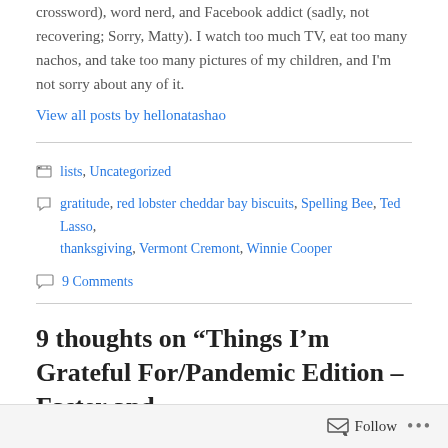crossword), word nerd, and Facebook addict (sadly, not recovering; Sorry, Matty). I watch too much TV, eat too many nachos, and take too many pictures of my children, and I'm not sorry about any of it.
View all posts by hellonatashao
lists, Uncategorized
gratitude, red lobster cheddar bay biscuits, Spelling Bee, Ted Lasso, thanksgiving, Vermont Cremont, Winnie Cooper
9 Comments
9 thoughts on “Things I’m Grateful For/Pandemic Edition – Faster and Gratefuller II
Follow